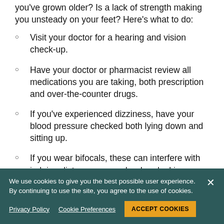you've grown older? Is a lack of strength making you unsteady on your feet? Here's what to do:
Visit your doctor for a hearing and vision check-up.
Have your doctor or pharmacist review all medications you are taking, both prescription and over-the-counter drugs.
If you've experienced dizziness, have your blood pressure checked both lying down and sitting up.
If you wear bifocals, these can interfere with judging distances properly when looking
We use cookies to give you the best possible user experience. By continuing to use the site, you agree to the use of cookies.